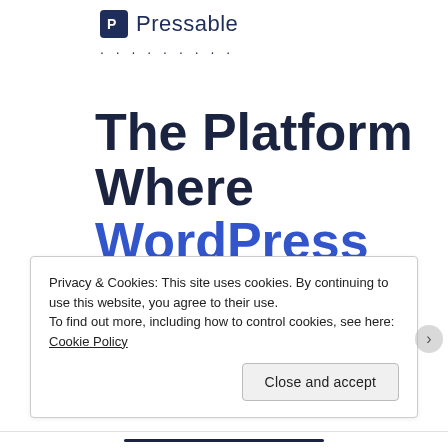[Figure (logo): Pressable logo: blue square with white P icon followed by the text 'Pressable' in dark navy]
· · · · · · · · ·
The Platform Where WordPress Works Best
Privacy & Cookies: This site uses cookies. By continuing to use this website, you agree to their use.
To find out more, including how to control cookies, see here: Cookie Policy
Close and accept